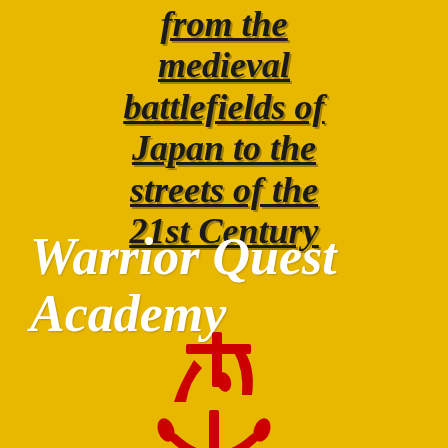from the medieval battlefields of Japan to the streets of the 21st Century
Warrior Quest Academy
[Figure (illustration): Large red kanji characters (ninja/shinobi) on yellow background]